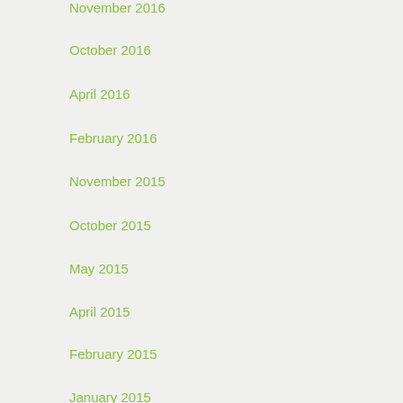November 2016
October 2016
April 2016
February 2016
November 2015
October 2015
May 2015
April 2015
February 2015
January 2015
April 2014
February 2014
December 2013
March 2013
BLOG POSTS BY CATEGORY
Contract Management Reform...